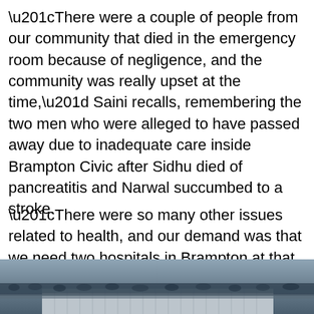“There were a couple of people from our community that died in the emergency room because of negligence, and the community was really upset at the time,” Saini recalls, remembering the two men who were alleged to have passed away due to inadequate care inside Brampton Civic after Sidhu died of pancreatitis and Narwal succumbed to a stroke.
“There were so many other issues related to health, and our demand was that we need two hospitals in Brampton at that time. And they didn't commit anything,” Saini said.
[Figure (photo): A photograph showing a crowd of people gathered, with a large building structure visible in the background.]